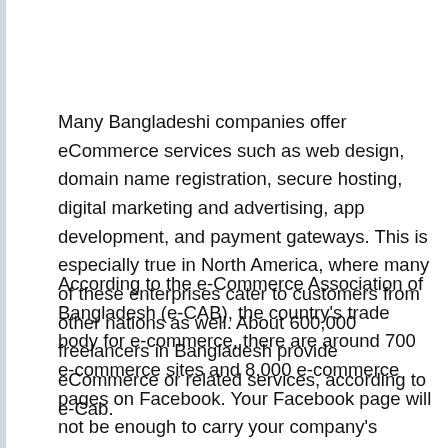Many Bangladeshi companies offer eCommerce services such as web design, domain name registration, secure hosting, digital marketing and advertising, app development, and payment gateways. This is especially true in North America, where many of these enterprises cater to customers from other nations as well. About 600,000 freelancers in Bangladesh provide eCommerce or related services, according to e-Cab.
According to the e-Commerce Association of Bangladesh (e-CAB), the country's trade body for e-commerce, there are around 700 e-commerce sites and 8,000 e-commerce pages on Facebook. Your Facebook page will not be enough to carry your company's branding, marketing, and, as a result, sales into the future. Payments into